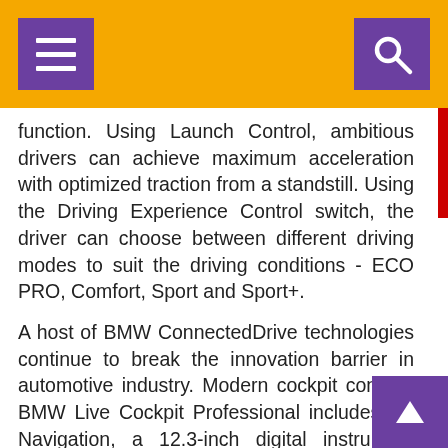function. Using Launch Control, ambitious drivers can achieve maximum acceleration with optimized traction from a standstill. Using the Driving Experience Control switch, the driver can choose between different driving modes to suit the driving conditions - ECO PRO, Comfort, Sport and Sport+.
A host of BMW ConnectedDrive technologies continue to break the innovation barrier in automotive industry. Modern cockpit concept BMW Live Cockpit Professional includes 3D Navigation, a 12.3-inch digital instrument display behind the steering wheel and a 10.25 inch Control Display. The occupants can operate a number of functions simply by speaking to their BMW Virtual Assistant. Hands do the talking with BMW Gesture Control that recognizes six pre-defined hand movements for control of a number of functions (available in M Sport ‘First Edition’). The smartphone holder integrated into the centre console allows inductive, Wireless Charging for mobile phones. Wireless Apple CarPlay® and Android Auto ensure seamless smartphone connection the car to access several functions. The car has a Ha Kardon Surround Sound system with 16 loudspeakers.